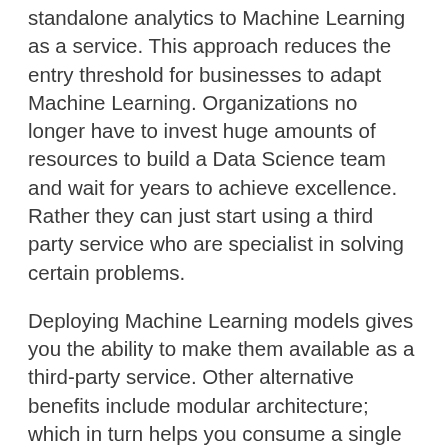standalone analytics to Machine Learning as a service. This approach reduces the entry threshold for businesses to adapt Machine Learning. Organizations no longer have to invest huge amounts of resources to build a Data Science team and wait for years to achieve excellence. Rather they can just start using a third party service who are specialist in solving certain problems.
Deploying Machine Learning models gives you the ability to make them available as a third-party service. Other alternative benefits include modular architecture; which in turn helps you consume a single service on a variety of platforms. E.g. a language translation service once deployed can be used through a mobile app, web-app or even Alexa!!
Is it different from the test pipeline in